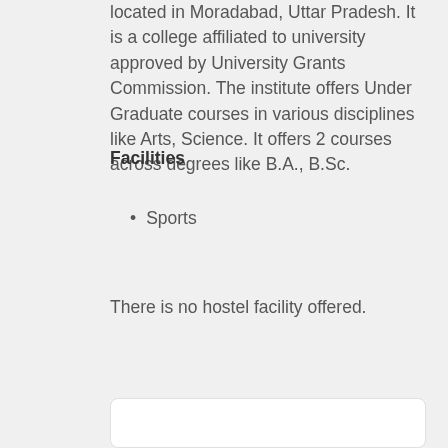located in Moradabad, Uttar Pradesh. It is a college affiliated to university approved by University Grants Commission. The institute offers Under Graduate courses in various disciplines like Arts, Science. It offers 2 courses across degrees like B.A., B.Sc.
Facilities
Sports
There is no hostel facility offered.